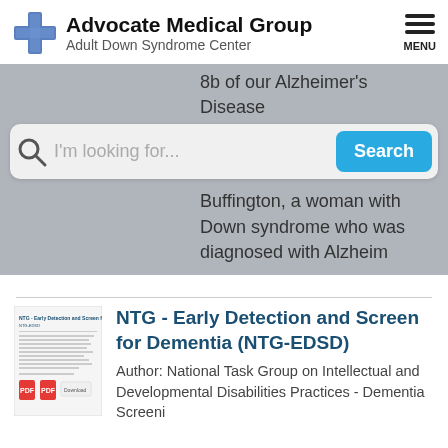[Figure (logo): Advocate Medical Group Adult Down Syndrome Center logo with blue cross]
8b of our Alzheimer's Disease
[Figure (screenshot): Search bar with magnifying glass icon, placeholder text 'I'm looking for...' and a blue Search button]
Buffington, a woman with Down syndrome who was diagnosed with Alzheim
NTG - Early Detection and Screen for Dementia (NTG-EDSD)
Author: National Task Group on Intellectual and Developmental Disabilities Practices - Dementia Screeni